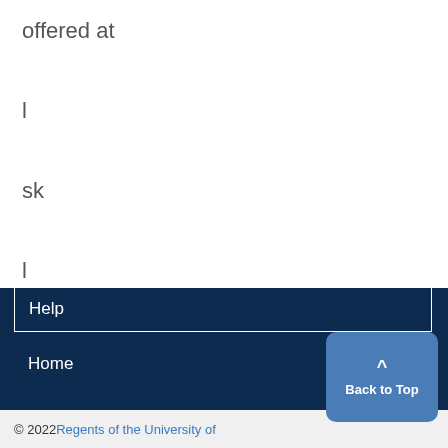offered at
l
sk
l
Help
Home
© 2022 Regents of the University of